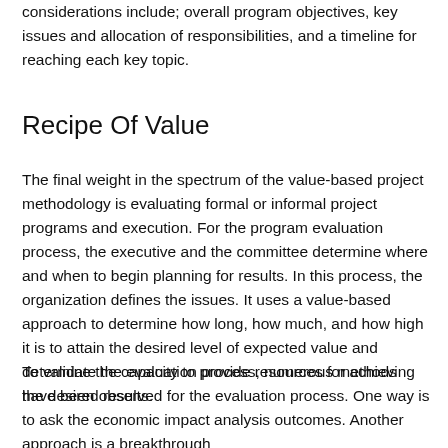considerations include; overall program objectives, key issues and allocation of responsibilities, and a timeline for reaching each key topic.
Recipe Of Value
The final weight in the spectrum of the value-based project methodology is evaluating formal or informal project programs and execution. For the program evaluation process, the executive and the committee determine where and when to begin planning for results. In this process, the organization defines the issues. It uses a value-based approach to determine how long, how much, and how high it is to attain the desired level of expected value and determine the capacity to provide resources for achieving the desired results.
To validate the evaluation process, numerous methods have been observed for the evaluation process. One way is to ask the economic impact analysis outcomes. Another approach is a breakthrough